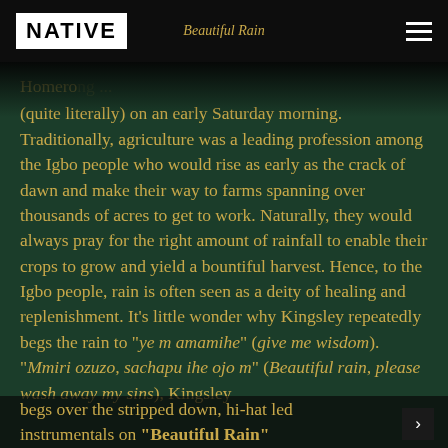NATIVE | Beautiful Rain
(quite literally) on an early Saturday morning. Traditionally, agriculture was a leading profession among the Igbo people who would rise as early as the crack of dawn and make their way to farms spanning over thousands of acres to get to work. Naturally, they would always pray for the right amount of rainfall to enable their crops to grow and yield a bountiful harvest. Hence, to the Igbo people, rain is often seen as a deity of healing and replenishment. It’s little wonder why Kingsley repeatedly begs the rain to “ye m amamihe” (give me wisdom). “Mmiri ozuzo, sachapu ihe ojo m” (Beautiful rain, please wash away my sins), Kingsley begs over the stripped down, hi-hat led instrumentals on “Beautiful Rain”